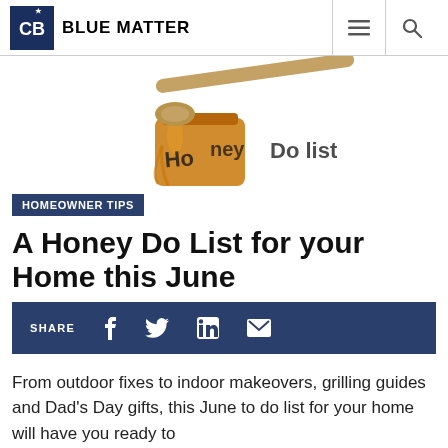Blue Matter
[Figure (photo): A honey dipper resting on top of a glass jar filled with honey, with handwritten text 'Honey Do List' partially visible]
HOMEOWNER TIPS
A Honey Do List for your Home this June
SHARE (social icons: Facebook, Twitter, LinkedIn, Email)
From outdoor fixes to indoor makeovers, grilling guides and Dad's Day gifts, this June to do list for your home will have you ready to